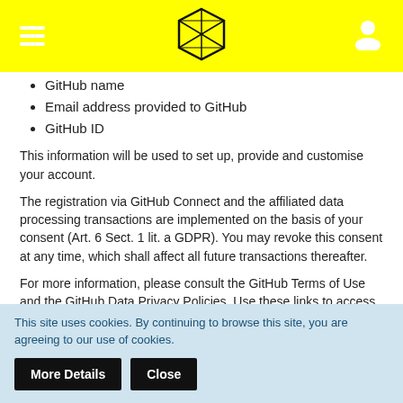[Navigation bar with hamburger menu, geometric logo, and user icon on yellow background]
GitHub name
Email address provided to GitHub
GitHub ID
This information will be used to set up, provide and customise your account.
The registration via GitHub Connect and the affiliated data processing transactions are implemented on the basis of your consent (Art. 6 Sect. 1 lit. a GDPR). You may revoke this consent at any time, which shall affect all future transactions thereafter.
For more information, please consult the GitHub Terms of Use and the GitHub Data Privacy Policies. Use these links to access this information: https://help.github.com/articles/github-terms-of-service/
This site uses cookies. By continuing to browse this site, you are agreeing to our use of cookies.